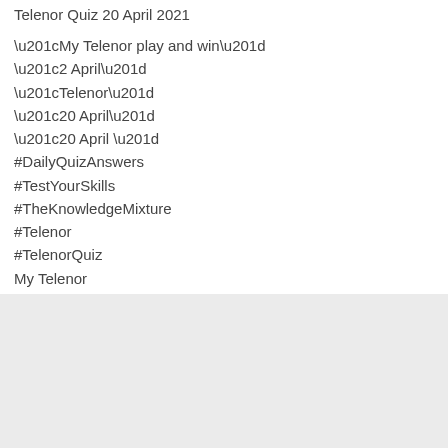Telenor Quiz 20 April 2021
“My Telenor play and win”
“2 April”
“Telenor”
“20 April”
“20 April ”
#DailyQuizAnswers
#TestYourSkills
#TheKnowledgeMixture
#Telenor
#TelenorQuiz
My Telenor